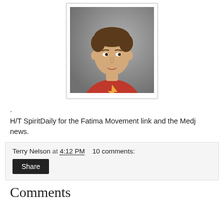[Figure (photo): Portrait photo of a young man with dark hair wearing a red t-shirt with a lightning bolt logo, posing against a grey background. Photo has a white border/frame.]
.
H/T SpiritDaily for the Fatima Movement link and the Medj news.
Terry Nelson at 4:12 PM   10 comments:
Share
Comments